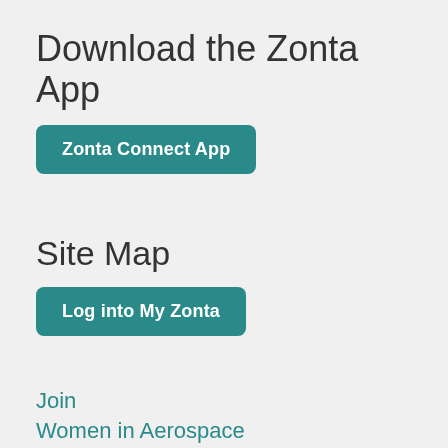Download the Zonta App
Zonta Connect App
Site Map
Log into My Zonta
Join
Women in Aerospace
Women in Business
Women in Tech
Young Women in Public Affairs
Local Service & Advocacy
Ending Child Marriage